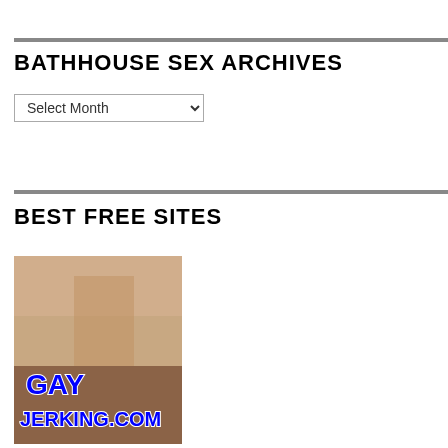BATHHOUSE SEX ARCHIVES
Select Month
BEST FREE SITES
[Figure (photo): Banner image for GayJerking.com showing adult content with blue logo text overlay reading 'GAY JERKING.COM']